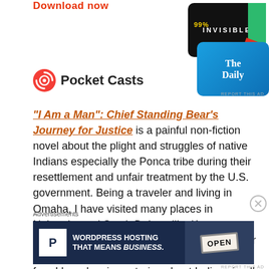[Figure (screenshot): Pocket Casts advertisement with podcast app cards (99% Invisible, The Daily) and 'Download now' text in red, with Pocket Casts logo]
"I Am a Man": Chief Standing Bear’s Journey for Justice is a painful non-fiction novel about the plight and struggles of native Indians especially the Ponca tribe during their resettlement and unfair treatment by the U.S. government. Being a traveler and living in Omaha, I have visited many places in Nebraska and South Dakota like Kearney, Ponca State Park, Standing Bear Lake, Custer State Park, Crazy Horse Memorial to name a few. I heard various stories about Indians in all those places but never felt as
Advertisements
[Figure (screenshot): WordPress Hosting advertisement: dark navy banner with 'WORDPRESS HOSTING THAT MEANS BUSINESS.' text and an OPEN sign image]